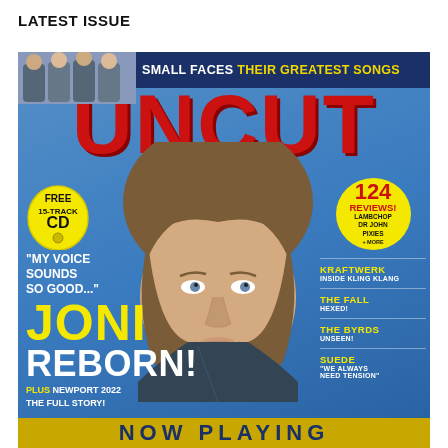LATEST ISSUE
[Figure (photo): Cover of UNCUT magazine featuring Joni Mitchell. Top banner reads 'SMALL FACES THEIR GREATEST SONGS' with a photo of Small Faces band. Large red UNCUT logo. Main cover photo of Joni Mitchell (woman with brown hair, blue background). Left side text: FREE 15-TRACK CD badge, quote 'MY VOICE SOUNDS SO GOOD...' JONI REBORN! PLUS NEWPORT 2022 THE FULL STORY! Right side: 124 REVIEWS! LAMBCHOP DR JOHN PIXIES + MORE. KRAFTWERK INSIDE KLING KLANG. THE FALL HEXED! THE BYRDS UNSEEN! SUEDE 'WE ALWAYS NEED TENSION'. Bottom gold bar: NOW PLAYING]